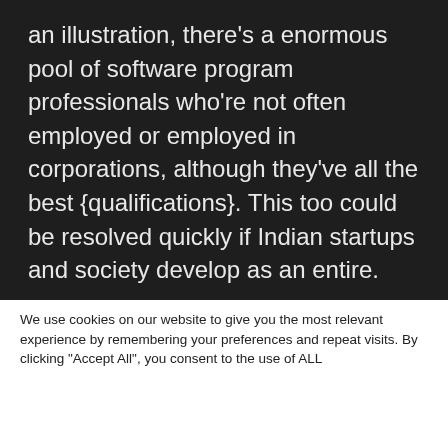an illustration, there's a enormous pool of software program professionals who're not often employed or employed in corporations, although they've all the best {qualifications}. This too could be resolved quickly if Indian startups and society develop as an entire.
Like this:
Like loading...
We use cookies on our website to give you the most relevant experience by remembering your preferences and repeat visits. By clicking "Accept All", you consent to the use of ALL
This website stores data such as cookies to enable necessary site functionality, including analytics, targeting, and personalization. By remaining on this website you indicate your consent Cookie Policy